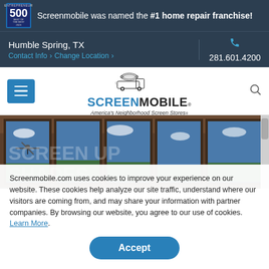Screenmobile was named the #1 home repair franchise!
Humble Spring, TX
Contact Info > Change Location >
281.601.4200
[Figure (logo): Screenmobile logo with van and screen roll graphic, tagline: America's Neighborhood Screen Stores]
[Figure (photo): Interior view through large windows/sliding glass doors showing ceiling fan and outdoor landscape]
Screenmobile.com uses cookies to improve your experience on our website. These cookies help analyze our site traffic, understand where our visitors are coming from, and may share your information with partner companies. By browsing our website, you agree to our use of cookies. Learn More.
Accept